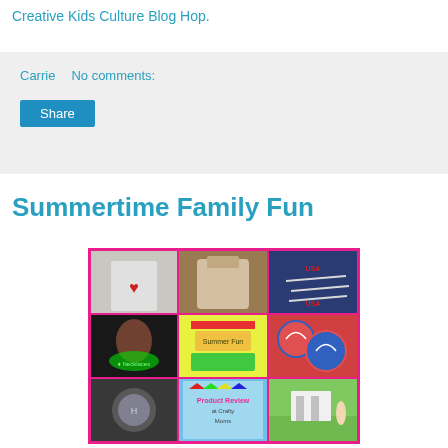Creative Kids Culture Blog Hop.
Carrie   No comments:
Share
Summertime Family Fun
[Figure (photo): Collage of 9 photos related to summertime family fun activities, including a child in a t-shirt, a wrapped object, toy planes with USA markings, a child with glow necklaces, a summer product display, beach balls, a projector image, a Product Review at Crafty Moms text image, and a yard scene.]